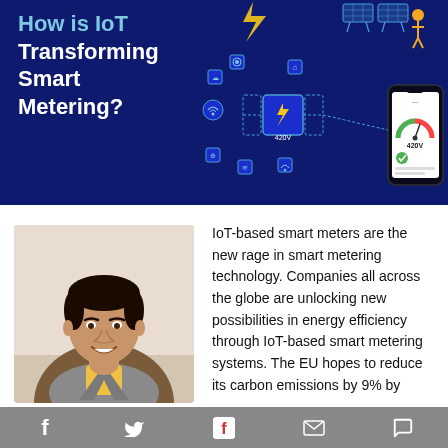[Figure (illustration): Dark blue banner with bold white text 'How is IoT Transforming Smart Metering?' on the left and an IoT/smart metering infographic illustration on the right showing energy icons, smart meter device showing 420V, connected devices, solar panels, lightning bolt, and a smartphone with a gauge reading 420V.]
[Figure (photo): Portrait photo of a smiling man in a grey blazer and yellow shirt, seated in a brown chair.]
IoT-based smart meters are the new rage in smart metering technology. Companies all across the globe are unlocking new possibilities in energy efficiency through IoT-based smart metering systems. The EU hopes to reduce its carbon emissions by 9% by